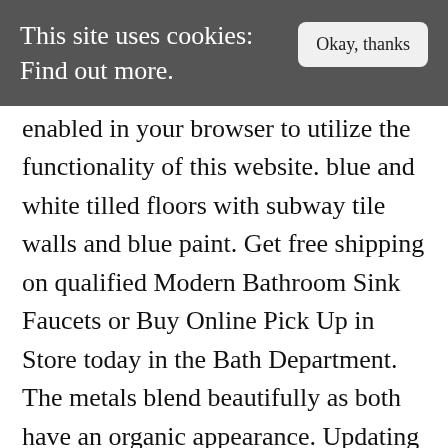This site uses cookies: Find out more.
enabled in your browser to utilize the functionality of this website. blue and white tilled floors with subway tile walls and blue paint. Get free shipping on qualified Modern Bathroom Sink Faucets or Buy Online Pick Up in Store today in the Bath Department. The metals blend beautifully as both have an organic appearance. Updating your bathroom vanity with a faucet can give it a new contemporary look. Pair it with main kitchen faucets that feature contemporary â¦ Call or chat with one of our product experts! This site is protected by